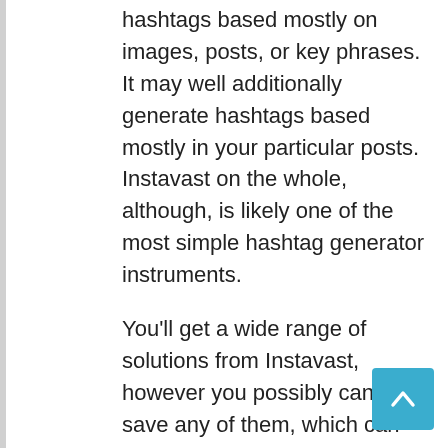hashtags based mostly on images, posts, or key phrases. It may well additionally generate hashtags based mostly in your particular posts. Instavast on the whole, although, is likely one of the most simple hashtag generator instruments.
You'll get a wide range of solutions from Instavast, however you possibly can't save any of them, which can be a draw back for some. It's a really primary device however may give you some new concepts based mostly in your search question.
Instavast's essential service is an IG bot targeted on rising your Instagram followers, so their hashtag technology device is only a complement.